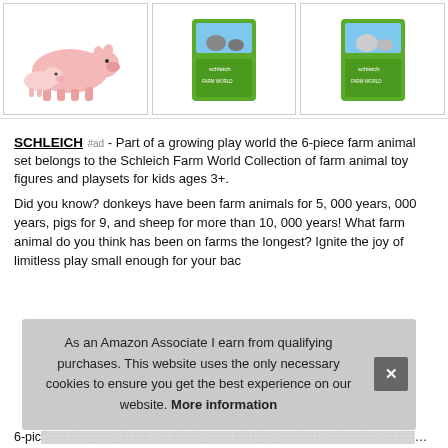[Figure (photo): Three product images in a row: left shows pig and piglet figurines, center shows Schleich farm animal set in green box, right shows another Schleich farm animal set in green box]
SCHLEICH #ad - Part of a growing play world the 6-piece farm animal set belongs to the Schleich Farm World Collection of farm animal toy figures and playsets for kids ages 3+.
Did you know? donkeys have been farm animals for 5, 000 years, 000 years, pigs for 9, and sheep for more than 10, 000 years! What farm animal do you think has been on farms the longest? Ignite the joy of limitless play small enough for your bac
6-pic...
As an Amazon Associate I earn from qualifying purchases. This website uses the only necessary cookies to ensure you get the best experience on our website. More information